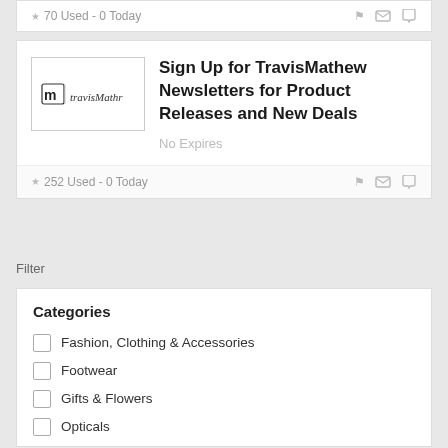70 Used - 0 Today
Sign Up for TravisMathew Newsletters for Product Releases and New Deals
No Expires
252 Used - 0 Today
Filter
Categories
Fashion, Clothing & Accessories
Footwear
Gifts & Flowers
Opticals